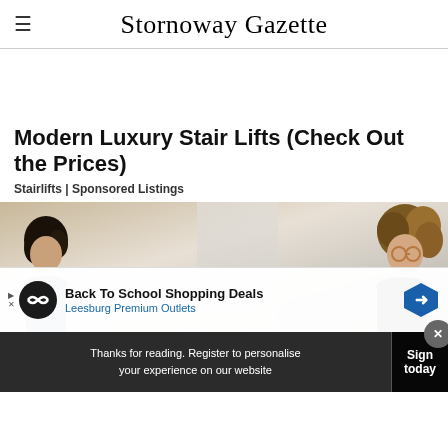Stornoway Gazette
Modern Luxury Stair Lifts (Check Out the Prices)
Stairlifts | Sponsored Listings
[Figure (photo): Photo of two people, one on left with dark curly hair, one on right with curly highlighted hair and glasses, against a light interior background]
[Figure (infographic): Advertisement banner: Back To School Shopping Deals - Leesburg Premium Outlets, with logo and directional sign icon]
Thanks for reading. Register to personalise your experience on our website
Sign today